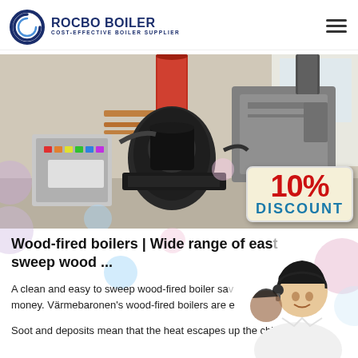ROCBO BOILER - COST-EFFECTIVE BOILER SUPPLIER
[Figure (photo): Industrial wood-fired boiler equipment in a factory setting with red chimney pipe, control panel, and machinery. A 10% DISCOUNT badge overlaid in bottom-right corner.]
Wood-fired boilers | Wide range of easy to sweep wood ...
A clean and easy to sweep wood-fired boiler saves you time and money. Värmebaronen's wood-fired boilers are e...
Soot and deposits mean that the heat escapes up the chimney...